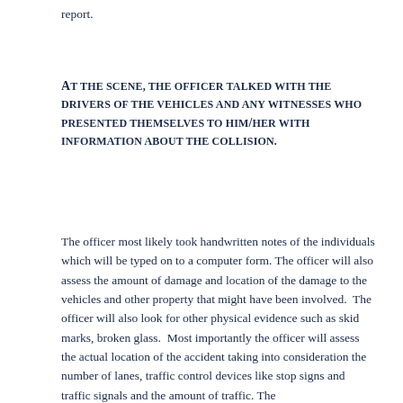report.
At the scene, the officer talked with the drivers of the vehicles and any witnesses who presented themselves to him/her with information about the collision.
The officer most likely took handwritten notes of the individuals which will be typed on to a computer form. The officer will also assess the amount of damage and location of the damage to the vehicles and other property that might have been involved.  The officer will also look for other physical evidence such as skid marks, broken glass.  Most importantly the officer will assess the actual location of the accident taking into consideration the number of lanes, traffic control devices like stop signs and traffic signals and the amount of traffic. The